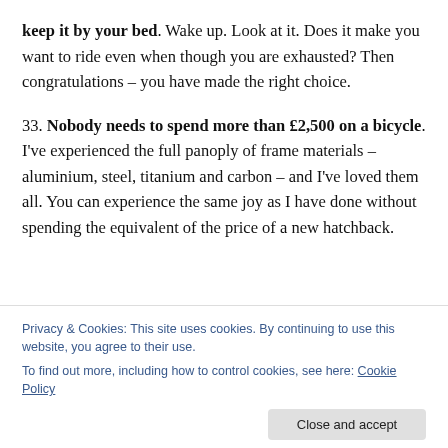keep it by your bed. Wake up. Look at it. Does it make you want to ride even when though you are exhausted? Then congratulations – you have made the right choice.
33. Nobody needs to spend more than £2,500 on a bicycle. I've experienced the full panoply of frame materials – aluminium, steel, titanium and carbon – and I've loved them all. You can experience the same joy as I have done without spending the equivalent of the price of a new hatchback.
Privacy & Cookies: This site uses cookies. By continuing to use this website, you agree to their use. To find out more, including how to control cookies, see here: Cookie Policy
people I was with, where we went, where we stopped